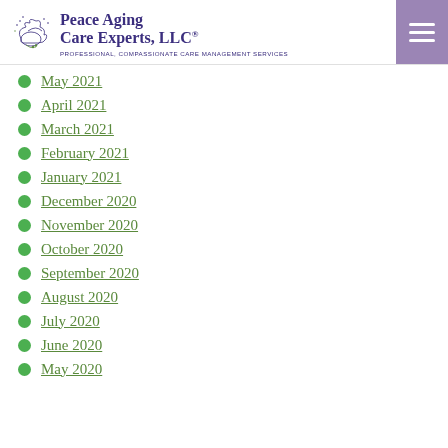Peace Aging Care Experts, LLC® — PROFESSIONAL, COMPASSIONATE CARE MANAGEMENT SERVICES
May 2021
April 2021
March 2021
February 2021
January 2021
December 2020
November 2020
October 2020
September 2020
August 2020
July 2020
June 2020
May 2020